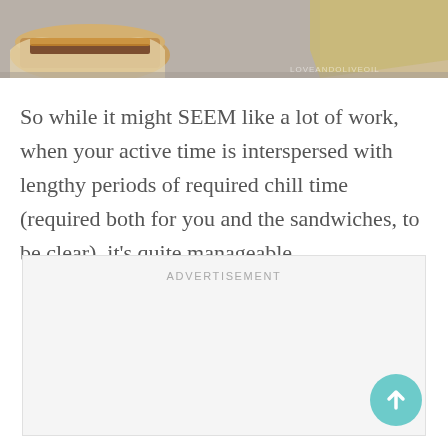[Figure (photo): Top portion of a food photo showing sandwiches or baked goods in paper wrappers on a gray surface]
So while it might SEEM like a lot of work, when your active time is interspersed with lengthy periods of required chill time (required both for you and the sandwiches, to be clear), it's quite manageable.
ADVERTISEMENT
[Figure (other): Scroll-to-top button: teal/mint circle with upward-pointing white arrow]